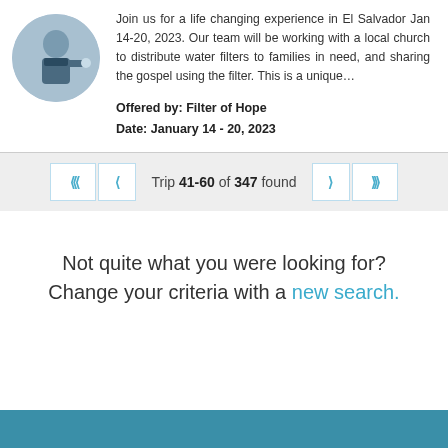[Figure (photo): Circular photo of a child holding a water filter or cup outdoors]
Join us for a life changing experience in El Salvador Jan 14-20, 2023. Our team will be working with a local church to distribute water filters to families in need, and sharing the gospel using the filter. This is a unique…
Offered by: Filter of Hope
Date: January 14 - 20, 2023
Trip 41-60 of 347 found
Not quite what you were looking for? Change your criteria with a new search.